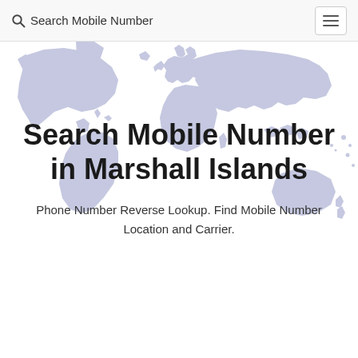Search Mobile Number
[Figure (map): World map with light blue/lavender continent silhouettes on white background, showing all continents including Europe, Africa, Americas, Asia, and Oceania.]
Search Mobile Number in Marshall Islands
Phone Number Reverse Lookup. Find Mobile Number Location and Carrier.